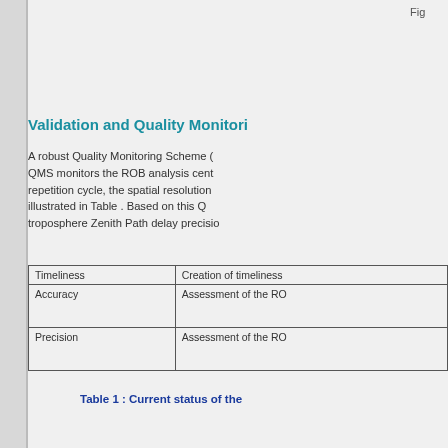Fig
Validation and Quality Monitori
A robust Quality Monitoring Scheme (QMS monitors the ROB analysis cent repetition cycle, the spatial resolution illustrated in Table . Based on this Q troposphere Zenith Path delay precisio
| Timeliness | Creation of timeliness |
| --- | --- |
| Accuracy | Assessment of the RO |
| Precision | Assessment of the RO |
Table 1 : Current status of the
Figure 5 : Near real-time v
Figure 6 : Near real-time troposphere
European versus National Grid
Within E-GVAR, the spatial resolution